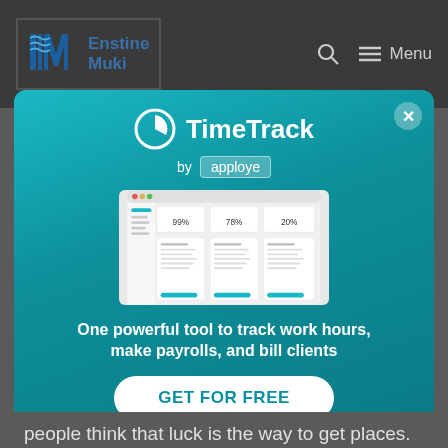Enstine Muki — Menu
[Figure (screenshot): TimeTrack by apploye popup modal with dashboard screenshot and CTA button 'GET FOR FREE'. Tagline: 'One powerful tool to track work hours, make payrolls, and bill clients']
people think that luck is the way to get places.